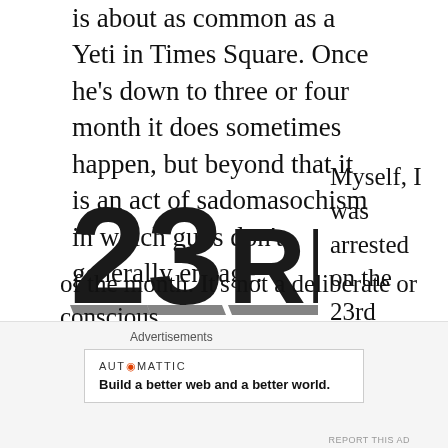is about as common as a Yeti in Times Square. Once he's down to three or four month it does sometimes happen, but beyond that it is an act of sadomasochism in which guys don't generally engage.
[Figure (illustration): Bold 3D black text reading '23RD' against a white background]
Myself, I was arrested on the 23rd
of the month. It's not a deliberate or conscious
Advertisements
AUTOMATTIC
Build a better web and a better world.